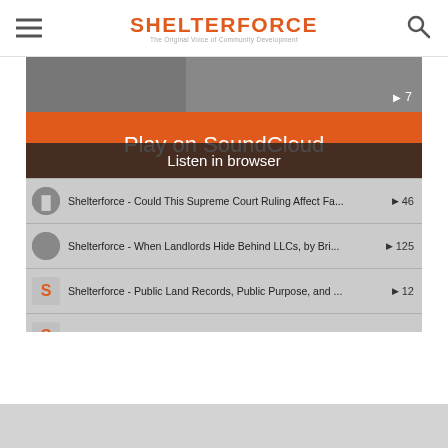SHELTERFORCE — The Original Voice of Community Development
[Figure (screenshot): SoundCloud embedded widget showing a playlist of Shelterforce podcast tracks with an orange 'Play on SoundCloud' button and 'Listen in browser' overlay. Tracks listed: Could This Supreme Court Ruling Affect Fa... (46 plays), When Landlords Hide Behind LLCs, by Bri... (125 plays), Public Land Records, Public Purpose, and ... (12 plays), Breaking NYC's Housing Speculation Cycle (27 plays), How the Federal Reserve's Monetary Policy D... (9 plays). Footer shows Latest tracks by Shelterforce with Privacy policy tag.]